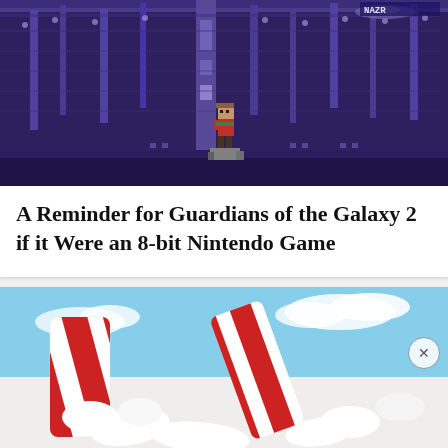[Figure (screenshot): 8-bit pixel art game screenshot showing a character in a red jacket running in a purple sci-fi city environment]
A Reminder for Guardians of the Galaxy 2 if it Were an 8-bit Nintendo Game
[Figure (photo): Advertisement image showing red and white striped objects (possibly candy canes or popcorn containers) against a blue sky with clouds]